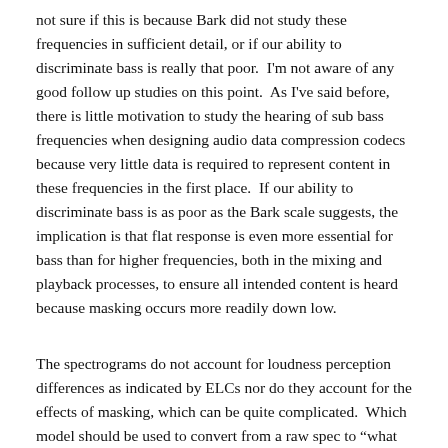not sure if this is because Bark did not study these frequencies in sufficient detail, or if our ability to discriminate bass is really that poor.  I'm not aware of any good follow up studies on this point.  As I've said before, there is little motivation to study the hearing of sub bass frequencies when designing audio data compression codecs because very little data is required to represent content in these frequencies in the first place.  If our ability to discriminate bass is as poor as the Bark scale suggests, the implication is that flat response is even more essential for bass than for higher frequencies, both in the mixing and playback processes, to ensure all intended content is heard because masking occurs more readily down low.
The spectrograms do not account for loudness perception differences as indicated by ELCs nor do they account for the effects of masking, which can be quite complicated.  Which model should be used to convert from a raw spec to "what we hear" is a moving target as this research is still on-going.  Each new generation of lossy audio data compression technology introduces a more sophisticated psychoacoustic model of